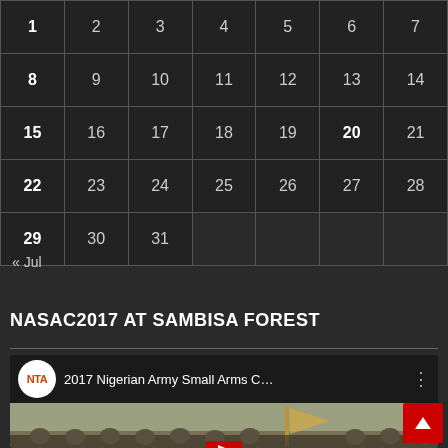| 1 | 2 | 3 | 4 | 5 | 6 | 7 |
| 8 | 9 | 10 | 11 | 12 | 13 | 14 |
| 15 | 16 | 17 | 18 | 19 | 20 | 21 |
| 22 | 23 | 24 | 25 | 26 | 27 | 28 |
| 29 | 30 | 31 |  |  |  |  |
« Jul
NASAC2017 AT SAMBISA FOREST
[Figure (screenshot): YouTube video thumbnail showing '2017 Nigerian Army Small Arms C...' with NTA channel logo and soldiers in camouflage uniforms at Sambisa Forest]